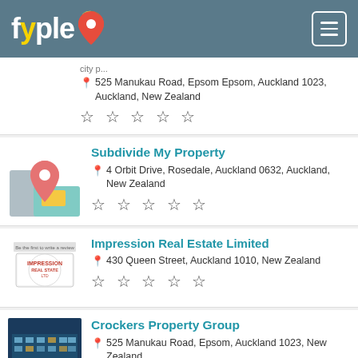fyple
525 Manukau Road, Epsom Epsom, Auckland 1023, Auckland, New Zealand
☆ ☆ ☆ ☆ ☆
Subdivide My Property
4 Orbit Drive, Rosedale, Auckland 0632, Auckland, New Zealand
☆ ☆ ☆ ☆ ☆
Impression Real Estate Limited
430 Queen Street, Auckland 1010, New Zealand
☆ ☆ ☆ ☆ ☆
Crockers Property Group
525 Manukau Road, Epsom, Auckland 1023, New Zealand